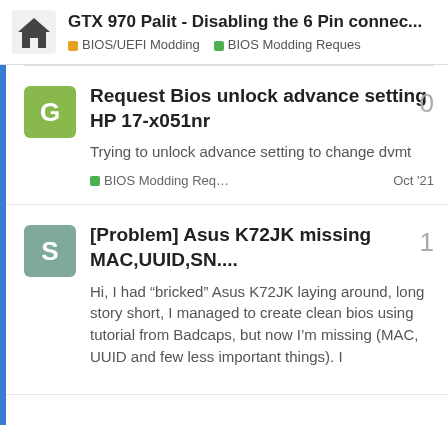GTX 970 Palit - Disabling the 6 Pin connec... | BIOS/UEFI Modding | BIOS Modding Reques
Request Bios unlock advance setting HP 17-x051nr
Trying to unlock advance setting to change dvmt
BIOS Modding Req... Oct '21   0 replies
[Problem] Asus K72JK missing MAC,UUID,SN....
Hi, I had “bricked” Asus K72JK laying around, long story short, I managed to create clean bios using tutorial from Badcaps, but now I’m missing (MAC, UUID and few less important things). I